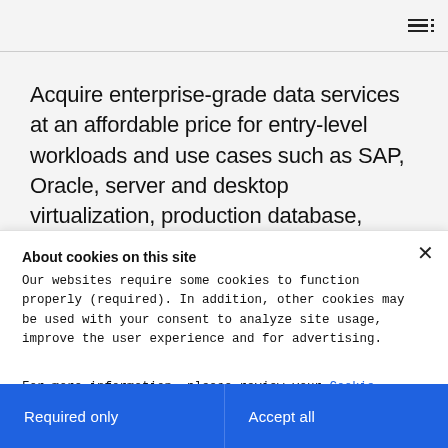Acquire enterprise-grade data services at an affordable price for entry-level workloads and use cases such as SAP, Oracle, server and desktop virtualization, production database, containers, and data center edge.
About cookies on this site
Our websites require some cookies to function properly (required). In addition, other cookies may be used with your consent to analyze site usage, improve the user experience and for advertising.

For more information, please review your Cookie preferences options and IBM's privacy statement.
Required only
Accept all